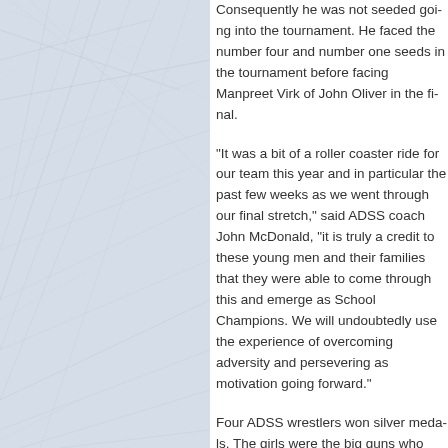[Figure (photo): Ice rink surface background image with scratched ice texture in light blue-grey tones, occupying the left portion of the page.]
Consequently he was not seeded goi... number four and number one seeds i... Manpreet Virk of John Oliver in the fi...
“It was a bit of a roller coaster ride for... particular the past few weeks as we w... said ADSS coach John McDonald, “it i... their families that they were able to co... School Champions. We will undoubte... adversity and persevering as motivatio...
Four ADSS wrestlers won silver meda... guns who lead the way in the light wei... followed up her impressive bronze me... impressive silver this year as a grade ... two time BC champion, teammate and... the last second of their match in the fi... grade 9 Wagner twins, Jesse and Jor... respectively. Both ended up against ol... final but both had upset some tough o...
“All three of the ADSS grade 9’s who t... Neill Middle School this year where th... under coaches Erin Anker, Jason Walt...